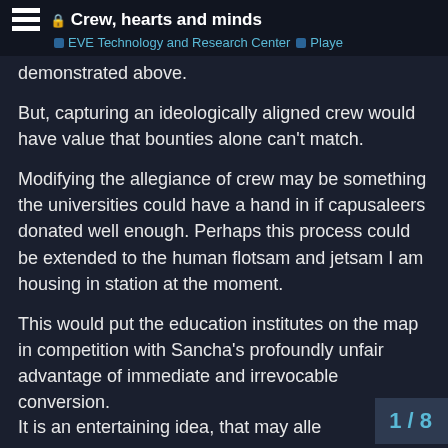Crew, hearts and minds — EVE Technology and Research Center | Playe
demonstrated above.
But, capturing an ideologically aligned crew would have value that bounties alone can't match.
Modifying the allegiance of crew may be something the universities could have a hand in if capusaleers donated well enough. Perhaps this process could be extended to the human flotsam and jetsam I am housing in station at the moment.
This would put the education institutes on the map in competition with Sancha's profoundly unfair advantage of immediate and irrevocable conversion.
It is an entertaining idea, that may alle
1 / 8